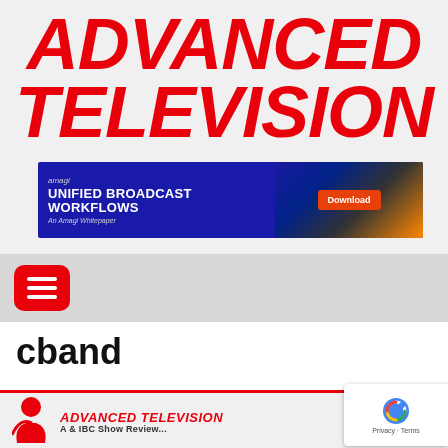ADVANCED TELEVISION
[Figure (other): Amagi advertisement banner for 'Unified Broadcast Workflows' whitepaper with a Download button, set against a blue background with streaking city lights]
[Figure (other): Red rounded square hamburger menu button with three white horizontal lines]
cband
[Figure (logo): Advanced Television logo at the bottom — red stylized figure icon, italic bold red 'ADVANCED TELEVISION' text]
[Figure (other): Google reCAPTCHA badge in bottom-right corner with logo, Privacy and Terms links]